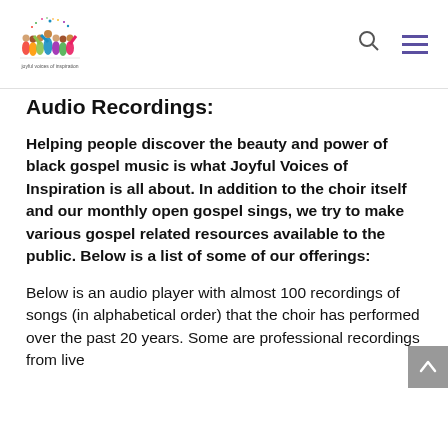[Figure (logo): Joyful Voices of Inspiration logo: colorful illustrated people figures with text 'joyful voices of inspiration' below]
Audio Recordings:
Helping people discover the beauty and power of black gospel music is what Joyful Voices of Inspiration is all about. In addition to the choir itself and our monthly open gospel sings, we try to make various gospel related resources available to the public. Below is a list of some of our offerings:
Below is an audio player with almost 100 recordings of songs (in alphabetical order) that the choir has performed over the past 20 years. Some are professional recordings from live